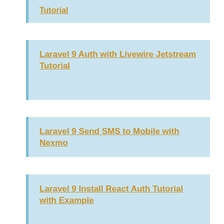Tutorial
Laravel 9 Auth with Livewire Jetstream Tutorial
Laravel 9 Send SMS to Mobile with Nexmo
Laravel 9 Install React Auth Tutorial with Example
Laravel 9 Install Vue Auth Tutorial with